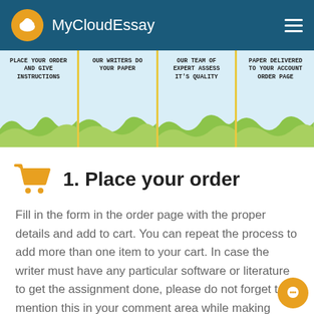MyCloudEssay
[Figure (infographic): Four-step process banner: PLACE YOUR ORDER AND GIVE INSTRUCTIONS | OUR WRITERS DO YOUR PAPER | OUR TEAM OF EXPERT ASSESS IT'S QUALITY | PAPER DELIVERED TO YOUR ACCOUNT ORDER PAGE]
1. Place your order
Fill in the form in the order page with the proper details and add to cart. You can repeat the process to add more than one item to your cart. In case the writer must have any particular software or literature to get the assignment done, please do not forget to mention this in your comment area while making